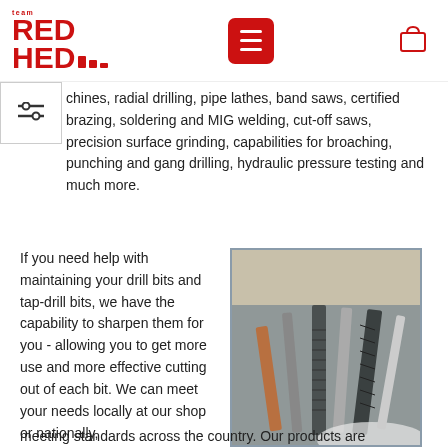Red Hed Tools - header with logo, hamburger menu, and cart icon
chines, radial drilling, pipe lathes, band saws, certified brazing, soldering and MIG welding, cut-off saws, precision surface grinding, capabilities for broaching, punching and gang drilling, hydraulic pressure testing and much more.
If you need help with maintaining your drill bits and tap-drill bits, we have the capability to sharpen them for you - allowing you to get more use and more effective cutting out of each bit. We can meet your needs locally at our shop or nationally,
[Figure (photo): Close-up photo of assorted drill bits and tap-drill bits arranged together, showing metallic threading and various tool shapes]
meeting standards across the country. Our products are